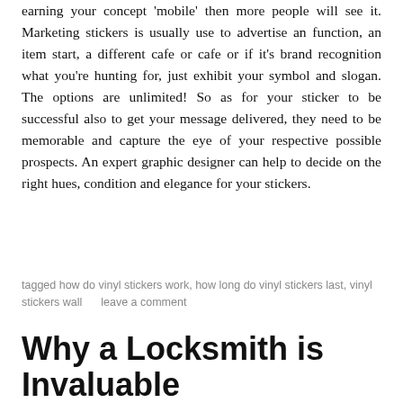earning your concept 'mobile' then more people will see it. Marketing stickers is usually use to advertise an function, an item start, a different cafe or cafe or if it's brand recognition what you're hunting for, just exhibit your symbol and slogan. The options are unlimited! So as for your sticker to be successful also to get your message delivered, they need to be memorable and capture the eye of your respective possible prospects. An expert graphic designer can help to decide on the right hues, condition and elegance for your stickers.
tagged how do vinyl stickers work, how long do vinyl stickers last, vinyl stickers wall     leave a comment
Why a Locksmith is Invaluable